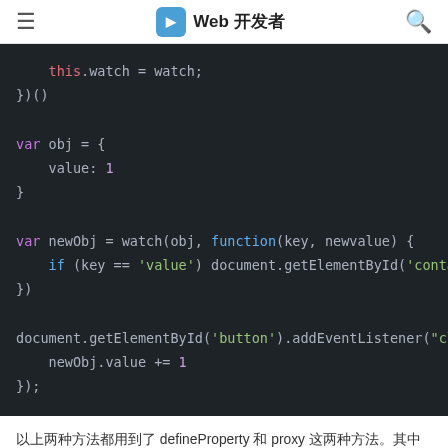Web 开发者
[Figure (screenshot): Dark-themed code editor showing JavaScript code snippet with syntax highlighting. Code includes: this.watch = watch; })() var obj = { value: 1 } var newObj = watch(obj, function(key, newvalue) { if (key == 'value') document.getElementById('contain }) document.getElementById('button').addEventListener("clic newObj.value += 1 });]
以上两种方法都用到了 defineProperty 和 proxy 这两种方法。其中 defineProperty只用于对象中的 obj 对象，而 proxy在新版本浏览器中使用 Proxy 对象来实现对属性。